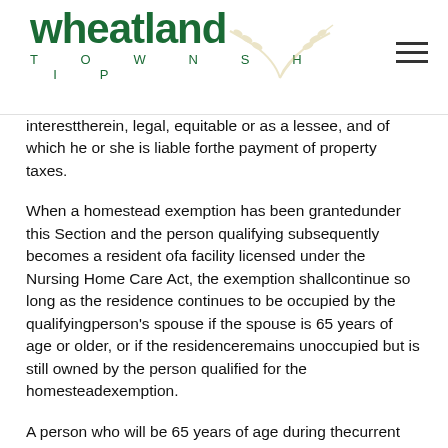Wheatland Township
interesttherein, legal, equitable or as a lessee, and of which he or she is liable forthe payment of property taxes.
When a homestead exemption has been grantedunder this Section and the person qualifying subsequently becomes a resident ofa facility licensed under the Nursing Home Care Act, the exemption shallcontinue so long as the residence continues to be occupied by the qualifyingperson's spouse if the spouse is 65 years of age or older, or if the residenceremains unoccupied but is still owned by the person qualified for the homesteadexemption.
A person who will be 65 years of age during thecurrent assessment year shall be eligible to apply for the homestead exemptionduring that assessment year. Application shall be made during the applicationperiod in